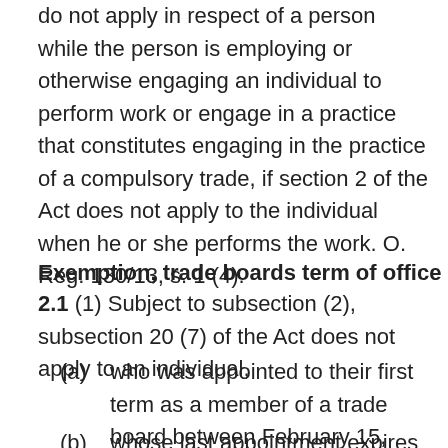do not apply in respect of a person while the person is employing or otherwise engaging an individual to perform work or engage in a practice that constitutes engaging in the practice of a compulsory trade, if section 2 of the Act does not apply to the individual when he or she performs the work. O. Reg. 130/13, s. 1 (4).
Exemption, trade boards term of office
2.1 (1) Subject to subsection (2), subsection 20 (7) of the Act does not apply to an individual,
(a)  who was appointed to their first term as a member of a trade board between February 15, 2012 and October 1, 2012; and
(b)  whose last appointment expires between